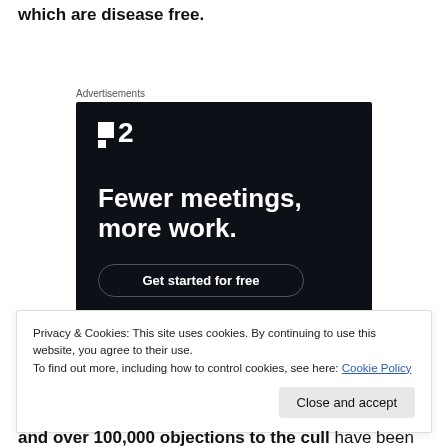which are disease free.
Advertisements
[Figure (screenshot): Advertisement banner for a project management or productivity tool showing logo '.2', headline 'Fewer meetings, more work.' and a 'Get started for free' button on dark background.]
Privacy & Cookies: This site uses cookies. By continuing to use this website, you agree to their use.
To find out more, including how to control cookies, see here: Cookie Policy
and over 100,000 objections to the cull have been